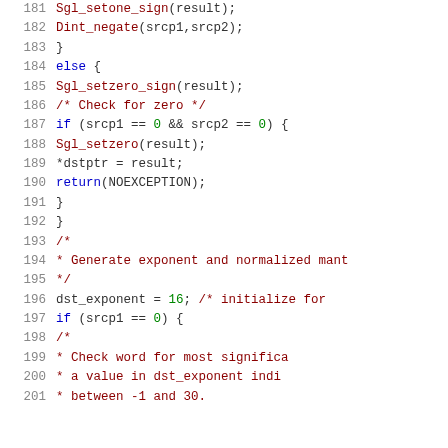[Figure (screenshot): Source code listing lines 181-201 with syntax highlighting. Code shows C functions Sgl_setone_sign, Dint_negate, Sgl_setzero_sign, and related logic for floating point operations.]